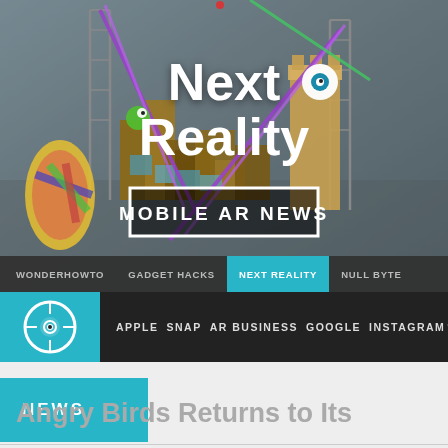[Figure (screenshot): Next Reality website hero image showing an augmented reality scene with Angry Birds structures, purple laser beams, scaffolding, and colorful game elements against a grey surface background. The Next Reality logo with an eye icon is displayed prominently in white text. A 'MOBILE AR NEWS' badge appears below the logo.]
WONDERHOWTO   GADGET HACKS   NEXT REALITY   NULL BYTE
APPLE  SNAP  AR BUSINESS  GOOGLE  INSTAGRAM
NEWS
Angry Birds Returns to Its